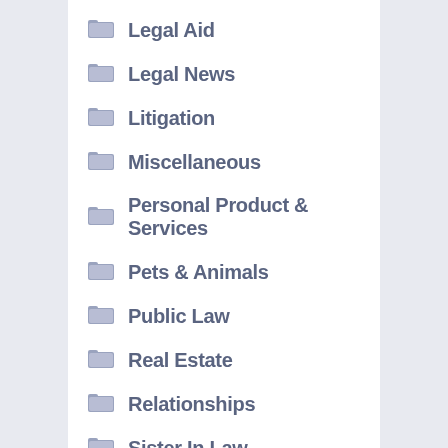Legal Aid
Legal News
Litigation
Miscellaneous
Personal Product & Services
Pets & Animals
Public Law
Real Estate
Relationships
Sister In Law
Software
Solicitor